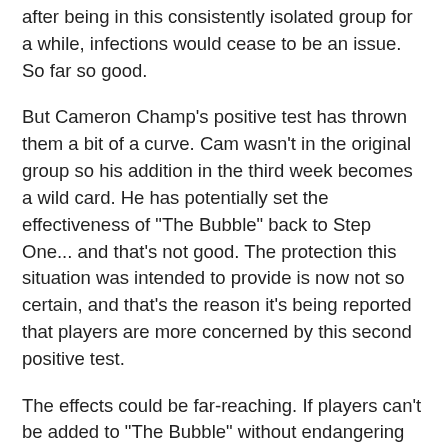after being in this consistently isolated group for a while, infections would cease to be an issue. So far so good.
But Cameron Champ's positive test has thrown them a bit of a curve. Cam wasn't in the original group so his addition in the third week becomes a wild card. He has potentially set the effectiveness of "The Bubble" back to Step One... and that's not good. The protection this situation was intended to provide is now not so certain, and that's the reason it's being reported that players are more concerned by this second positive test.
The effects could be far-reaching. If players can't be added to "The Bubble" without endangering its safety level, it could affect whether players can be added to fields. It could mean fans have to be excluded from events for a longer time. And it could even result in some events being cancelled in areas where COVID-19 cases are trending upward.
The Tour is already looking at how their testing procedures should be tweaked. I think the Ryder Cup moved a bit closer to being postponed because this uncertainty makes fan